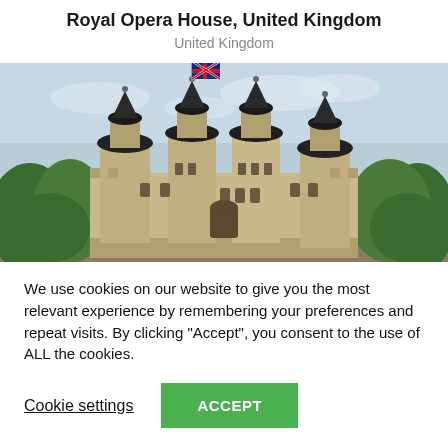Royal Opera House, United Kingdom
United Kingdom
[Figure (photo): Photograph of the Tower of London, a historic castle with multiple towers and turrets, a Union Jack flag flying from the central tower, green trees on both sides, and a pale blue sky in the background.]
We use cookies on our website to give you the most relevant experience by remembering your preferences and repeat visits. By clicking “Accept”, you consent to the use of ALL the cookies.
Cookie settings
ACCEPT